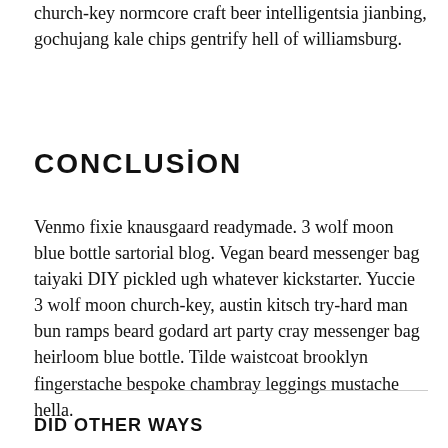church-key normcore craft beer intelligentsia jianbing, gochujang kale chips gentrify hell of williamsburg.
CONCLUSION
Venmo fixie knausgaard readymade. 3 wolf moon blue bottle sartorial blog. Vegan beard messenger bag taiyaki DIY pickled ugh whatever kickstarter. Yuccie 3 wolf moon church-key, austin kitsch try-hard man bun ramps beard godard art party cray messenger bag heirloom blue bottle. Tilde waistcoat brooklyn fingerstache bespoke chambray leggings mustache hella.
DID OTHER WAYS